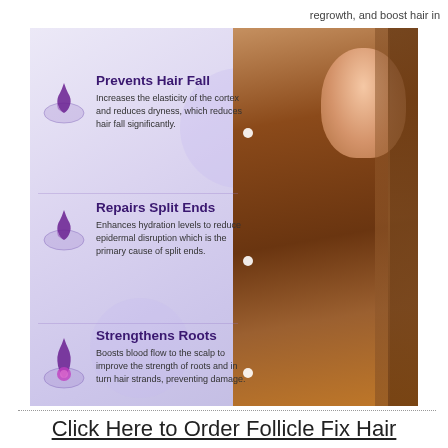regrowth, and boost hair in
[Figure (infographic): Hair care infographic on purple/lavender background with woman showing long brown hair on the right side. Three sections with scalp/follicle icons and descriptions.]
Prevents Hair Fall — Increases the elasticity of the cortex and reduces dryness, which reduces hair fall significantly.
Repairs Split Ends — Enhances hydration levels to reduce epidermal disruption which is the primary cause of split ends.
Strengthens Roots — Boosts blood flow to the scalp to improve the strength of roots and in turn hair strands, preventing damage.
Click Here to Order Follicle Fix Hair Regrowth Formula  For The Lowest Price